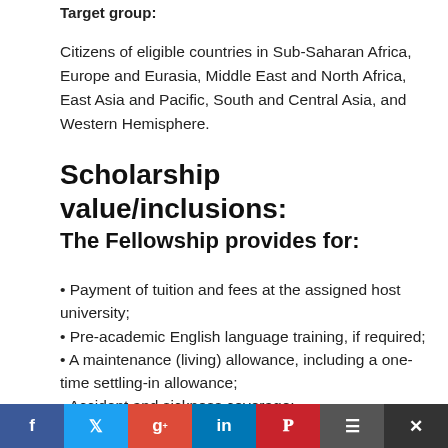Target group:
Citizens of eligible countries in Sub-Saharan Africa, Europe and Eurasia, Middle East and North Africa, East Asia and Pacific, South and Central Asia, and Western Hemisphere.
Scholarship value/inclusions:
The Fellowship provides for:
Payment of tuition and fees at the assigned host university;
Pre-academic English language training, if required;
A maintenance (living) allowance, including a one-time settling-in allowance;
Accident and sickness coverage;
A book...